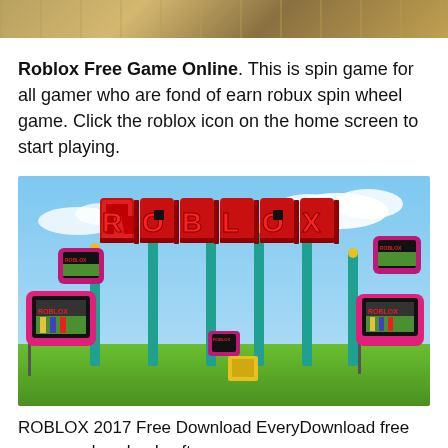[Figure (photo): Partial top image of a game screenshot, showing a tan/gold textured surface]
Roblox Free Game Online. This is spin game for all gamer who are fond of earn robux spin wheel game. Click the roblox icon on the home screen to start playing.
[Figure (photo): Roblox promotional image showing large red 3D ROBLOX letters above teal poles with pink selfie-stick phones taking pictures, green grass and blue sky background]
ROBLOX 2017 Free Download EveryDownload free program download software